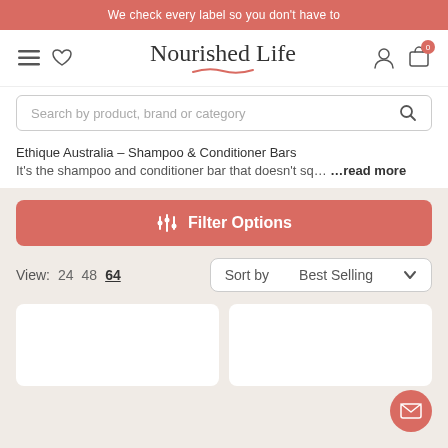We check every label so you don't have to
[Figure (logo): Nourished Life logo with cursive underline]
Search by product, brand or category
Ethique Australia – Shampoo & Conditioner Bars
It's the shampoo and conditioner bar that doesn't sq… …read more
Filter Options
View: 24 48 64
Sort by Best Selling